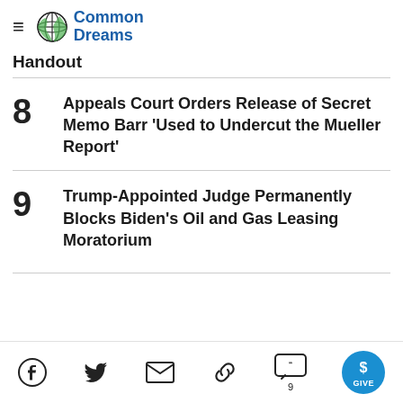Common Dreams
Handout
8 Appeals Court Orders Release of Secret Memo Barr 'Used to Undercut the Mueller Report'
9 Trump-Appointed Judge Permanently Blocks Biden's Oil and Gas Leasing Moratorium
Social share icons: Facebook, Twitter, Email, Link, Comments (9), Give